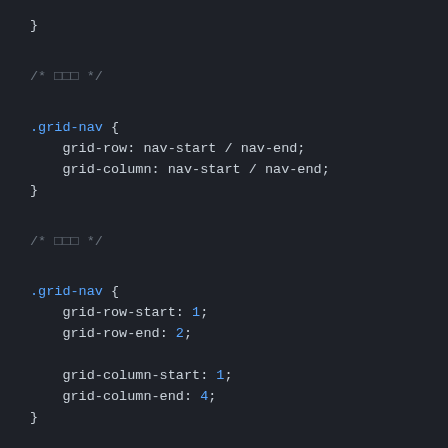}
/* □□□ */
.grid-nav {
    grid-row: nav-start / nav-end;
    grid-column: nav-start / nav-end;
}
/* □□□ */
.grid-nav {
    grid-row-start: 1;
    grid-row-end: 2;

    grid-column-start: 1;
    grid-column-end: 4;
}
/* □□□ */
.? {